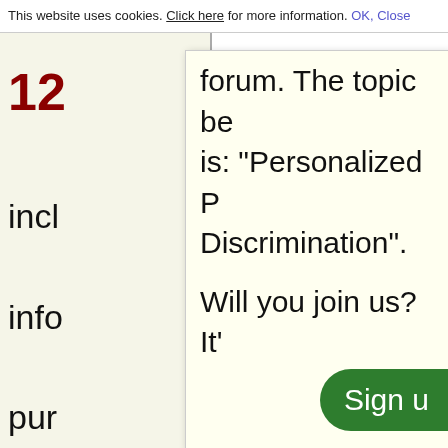This website uses cookies. Click here for more information. OK, Close
12
incl
info
pur
of w
geo
sea
forum. The topic be is: "Personalized P Discrimination".
Will you join us? It'
Sign u